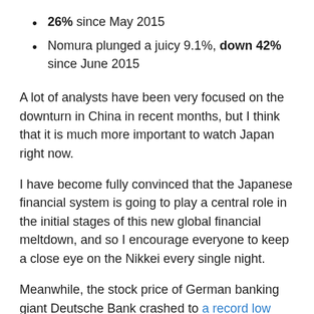26% since May 2015
Nomura plunged a juicy 9.1%, down 42% since June 2015
A lot of analysts have been very focused on the downturn in China in recent months, but I think that it is much more important to watch Japan right now.
I have become fully convinced that the Japanese financial system is going to play a central role in the initial stages of this new global financial meltdown, and so I encourage everyone to keep a close eye on the Nikkei every single night.
Meanwhile, the stock price of German banking giant Deutsche Bank crashed to a record low